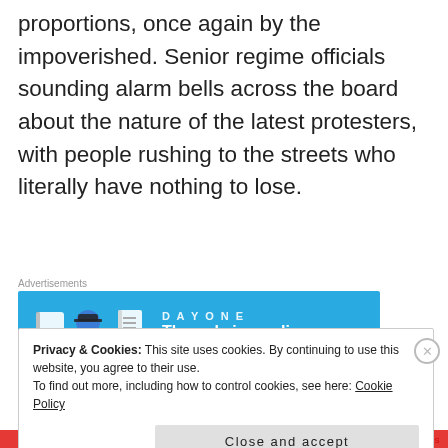proportions, once again by the impoverished. Senior regime officials sounding alarm bells across the board about the nature of the latest protesters, with people rushing to the streets who literally have nothing to lose.
[Figure (other): Advertisements banner: Day One app ad - 'The only journaling app you'll ever need.' on a blue background with cartoon icons.]
Privacy & Cookies: This site uses cookies. By continuing to use this website, you agree to their use.
To find out more, including how to control cookies, see here: Cookie Policy
Close and accept